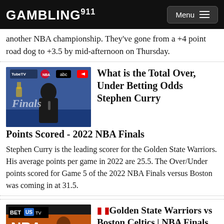GAMBLING911 Menu
another NBA championship.  They've gone from a +4 point road dog to +3.5 by mid-afternoon on Thursday.
[Figure (photo): Stephen Curry at NBA Finals press conference with NBA Finals logo, TubeTV, abc, and YouTube logos visible]
What is the Total Over, Under Betting Odds Stephen Curry Points Scored - 2022 NBA Finals
Stephen Curry is the leading scorer for the Golden State Warriors.  His average points per game in 2022 are 25.5.  The Over/Under points scored for Game 5 of the 2022 NBA Finals versus Boston was coming in at 31.5.
[Figure (photo): BetUS TV NBA Show promotional image with basketball player]
Golden State Warriors vs Boston Celtics | NBA Finals Game 4 Picks